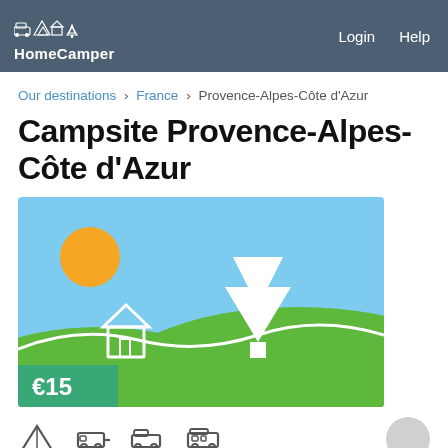HomeCamper | Login | Help
Our destinations › France › Provence-Alpes-Côte d'Azur
Campsite Provence-Alpes-Côte d'Azur
[Figure (illustration): Illustrated campsite scene with blue sky, green hills, a white pine tree, a small house, and roads. Price badge showing €15 in bottom-left corner.]
[Figure (illustration): Row of campsite type icons (tent, caravan, van, motorhome) and a circular placeholder icon on the right]